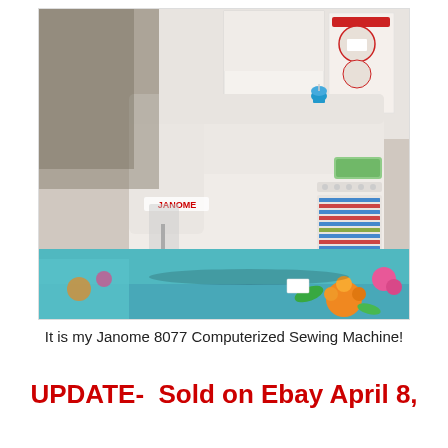[Figure (photo): A white Janome 8077 Computerized Sewing Machine sitting on colorful patterned fabric, with the machine's manual/reference card visible in the background, shot from a slightly elevated angle. Blue thread spool visible on the top. The machine shows the Janome logo and model number 8077.]
It is my Janome 8077 Computerized Sewing Machine!
UPDATE-  Sold on Ebay April 8,